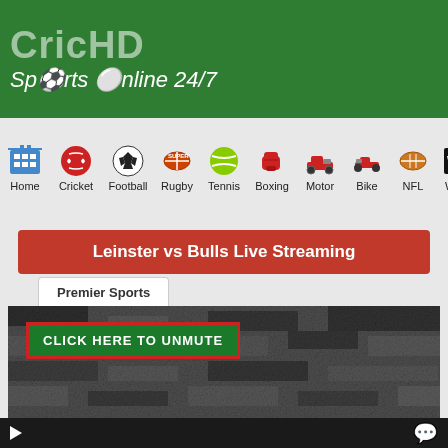[Figure (screenshot): CricHD website header with green background, site logo 'CricHD' and subtitle 'Sports Online 24/7']
[Figure (screenshot): Navigation bar with sports category icons: Home, Cricket, Football, Rugby, Tennis, Boxing, Motor, Bike, NFL, WWE]
Leinster vs Bulls Live Streaming
Premier Sports
[Figure (screenshot): Video player area showing static/noise with a green 'CLICK HERE TO UNMUTE' button with red border, and an X close button]
[Figure (screenshot): Bottom player control bar with play button and chat icon]